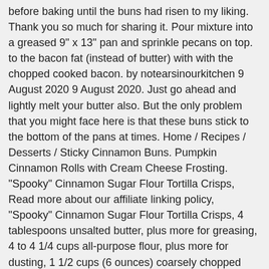before baking until the buns had risen to my liking. Thank you so much for sharing it. Pour mixture into a greased 9" x 13" pan and sprinkle pecans on top. to the bacon fat (instead of butter) with with the chopped cooked bacon. by notearsinourkitchen 9 August 2020 9 August 2020. Just go ahead and lightly melt your butter also. But the only problem that you might face here is that these buns stick to the bottom of the pans at times. Home / Recipes / Desserts / Sticky Cinnamon Buns. Pumpkin Cinnamon Rolls with Cream Cheese Frosting. "Spooky" Cinnamon Sugar Flour Tortilla Crisps, Read more about our affiliate linking policy, "Spooky" Cinnamon Sugar Flour Tortilla Crisps, 4 tablespoons unsalted butter, plus more for greasing, 4 to 4 1/4 cups all-purpose flour, plus more for dusting, 1 1/2 cups (6 ounces) coarsely chopped pecans. Tips for making the best sticky cinnamon buns. Anna Olson's Sticky Cinnamon Buns are just the thing for a Sunday afternoon in lockdown (or any Sunday afternoon for that matter) If you're not familiar with the wonderful Anna Olson, do check her out. To make gluten free, simply buy a pack of gluten free dinner rolls to sub for the rolls. At 28 minutes I smelled burning- the